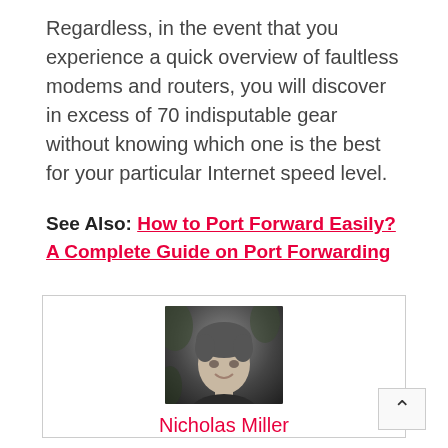Regardless, in the event that you experience a quick overview of faultless modems and routers, you will discover in excess of 70 indisputable gear without knowing which one is the best for your particular Internet speed level.
See Also: How to Port Forward Easily? A Complete Guide on Port Forwarding
[Figure (photo): Black and white portrait photo of a young man with curly hair, smiling, wearing a dark t-shirt, with foliage in background.]
Nicholas Miller